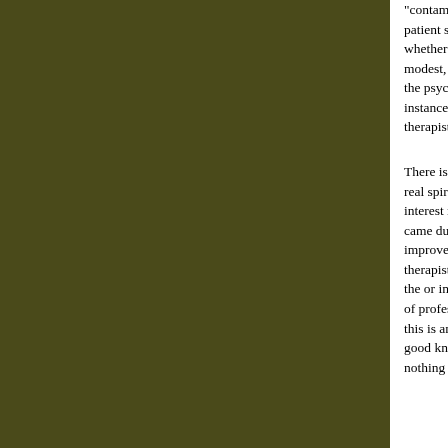"contaminate" a patient who is not so severe with the patient seen just before. An evident criterion for whether he actually makes his patients feel better. It is modest, that he, already a good therapist who diminishes the psychic suffering of the others, through excess, for instance. Jung seems to me being more realistic: the therapist is more the victim than the creator of the
There is nothing better than a regular practice of a real spiritual opening in his work. This goes further than interest regarding spiritual paths, or than two or three came during a weekend workshop. If this practice leads to improvement in daily behavior, it will be an effective for therapists. Too often therapists, because they doubt the or imagine that they do not have time to do it, think of professional skill may replace a spiritual work: but this is an illusion. It is enough to see how many people, good knowledge of the strings of their job, have nothing special, if not disturbed.
INDIAN WISDOM, CHRISTIANITY AND MODERN Vigne
B.R. Publishing (South Asia Books, dist., P.O. Bo orders: 573-474-0115, Fax: 573-474-8124, E-ma
$28.00, cloth, 229 pages, index
[Figure (photo): Small image placeholder with a broken/loading image icon]
INDIAN WISDOM, CHRISTIANITY AND MOD